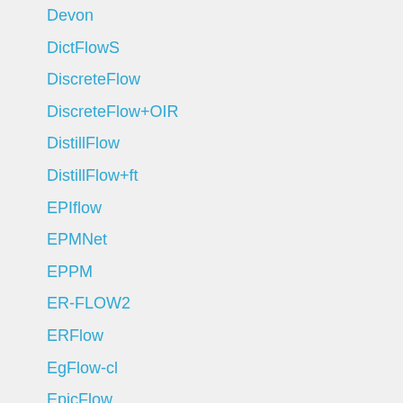Devon
DictFlowS
DiscreteFlow
DiscreteFlow+OIR
DistillFlow
DistillFlow+ft
EPIflow
EPMNet
EPPM
ER-FLOW2
ERFlow
EgFlow-cl
EpicFlow
F2PD_JJN
F3-MPLF
FALDOI
FAOP-Flow
FC-2Layers-FF
FCTR